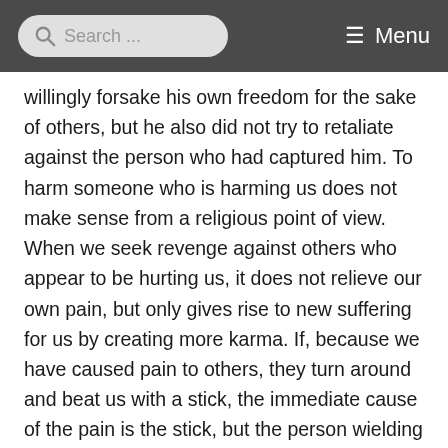Search ... Menu
willingly forsake his own freedom for the sake of others, but he also did not try to retaliate against the person who had captured him. To harm someone who is harming us does not make sense from a religious point of view. When we seek revenge against others who appear to be hurting us, it does not relieve our own pain, but only gives rise to new suffering for us by creating more karma. If, because we have caused pain to others, they turn around and beat us with a stick, the immediate cause of the pain is the stick, but the person wielding the stick is reacting against our own action, which itself was caused by our being in the grip of an